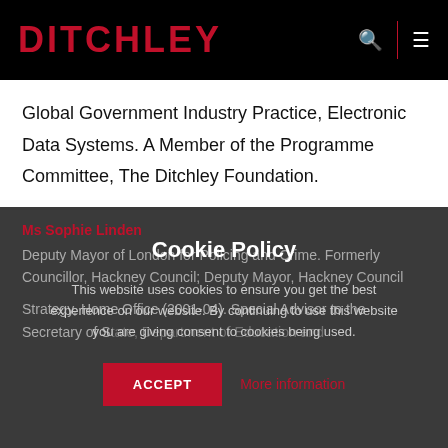DITCHLEY
Global Government Industry Practice, Electronic Data Systems. A Member of the Programme Committee, The Ditchley Foundation.
Ms Sophie Linden
Deputy Mayor of London for Policing and Crime. Formerly Councillor, Hackney Council; Deputy Mayor, Hackney Council
Strategy, Home Office (2001-04). Special Advisor to the Secretary of State, Department of Education and
Cookie Policy

This website uses cookies to ensure you get the best experience on our website. By continuing to use this website you are giving consent to cookies being used.

ACCEPT  More information